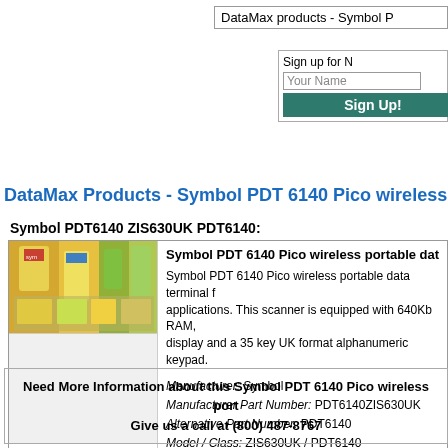DataMax products - Symbol P
Sign up for
Your Name
Sign Up!
DataMax Products - Symbol PDT 6140 Pico wireless portable
Symbol PDT6140 ZIS630UK PDT6140:
[Figure (photo): Photo of grocery store products/scanner items on shelves]
Symbol PDT 6140 Pico wireless portable data terminal for applications. This scanner is equipped with 640Kb RAM, display and a 35 key UK format alphanumeric keypad.

Manufacturer: Symbol
Manufacturer Part Number: PDT6140ZIS630UK
Alternative Part Number: PDT6140
Model / Class: ZIS630UK / PDT6140
DataMax Part Number: 189837
Request a Quote on this Symbol PDT6140 ZIS630
Need More Information about this Symbol PDT 6140 Pico wireless port
Give us a call at (800) 487-8767